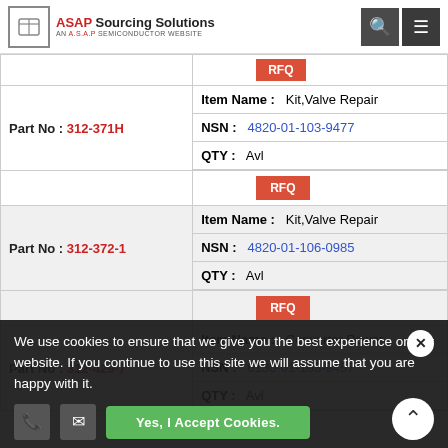ASAP Sourcing Solutions — AN A.S.A.P SEMICONDUCTOR WEBSITE
| Part No | Item Name / NSN / QTY |
| --- | --- |
| 312-371H | Item Name: Kit,Valve Repair | NSN: 4820-01-103-9477 | QTY: Avl |
| 312-372-1 | Item Name: Kit,Valve Repair | NSN: 4820-01-106-0985 | QTY: Avl |
| 312-429-7 | Item Name: Converter Power | NSN: 6130-01-103-9457 | QTY: Avl |
We use cookies to ensure that we give you the best experience on our website. If you continue to use this site we will assume that you are happy with it.